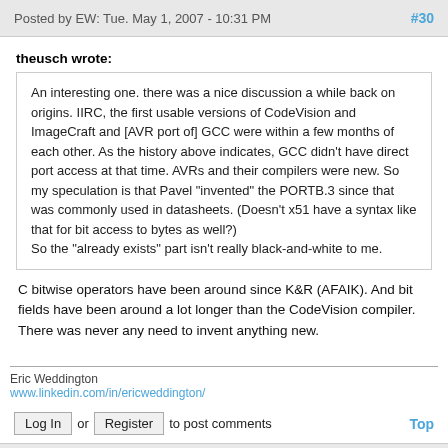Posted by EW: Tue. May 1, 2007 - 10:31 PM   #30
theusch wrote:
An interesting one. there was a nice discussion a while back on origins. IIRC, the first usable versions of CodeVision and ImageCraft and [AVR port of] GCC were within a few months of each other. As the history above indicates, GCC didn't have direct port access at that time. AVRs and their compilers were new. So my speculation is that Pavel "invented" the PORTB.3 since that was commonly used in datasheets. (Doesn't x51 have a syntax like that for bit access to bytes as well?)
So the "already exists" part isn't really black-and-white to me.
C bitwise operators have been around since K&R (AFAIK). And bit fields have been around a lot longer than the CodeVision compiler. There was never any need to invent anything new.
Eric Weddington
www.linkedin.com/in/ericweddington/
Log In or Register to post comments   Top